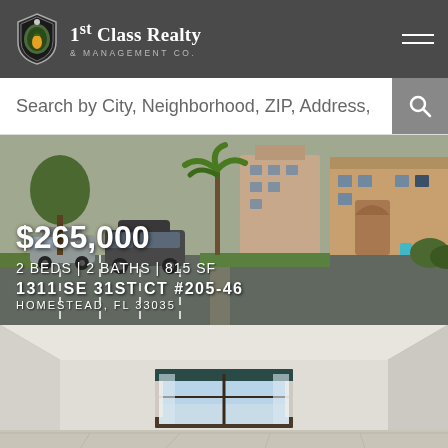1st Class Realty & Management Co.
Search by City, Neighborhood, ZIP, Address,
[Figure (photo): Exterior photo of a residential condominium complex with parking lot, palm trees, and multi-story pink/beige buildings]
$265,000
2 BEDS | 2 BATHS | 815 SF
1311 SE 31ST CT #205-46
HOMESTEAD, FL 33035
[Figure (photo): Interior photo of an empty room with white walls, tile floor, and a large window with a teal/dark valance letting in natural light]